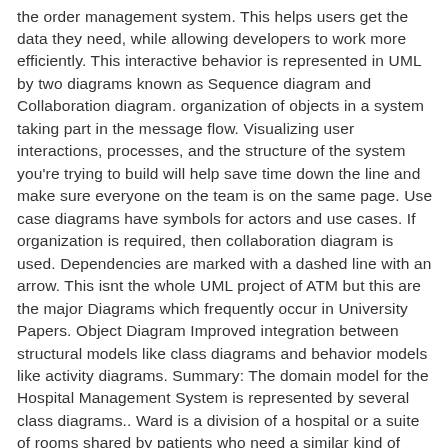the order management system. This helps users get the data they need, while allowing developers to work more efficiently. This interactive behavior is represented in UML by two diagrams known as Sequence diagram and Collaboration diagram. organization of objects in a system taking part in the message flow. Visualizing user interactions, processes, and the structure of the system you're trying to build will help save time down the line and make sure everyone on the team is on the same page. Use case diagrams have symbols for actors and use cases. If organization is required, then collaboration diagram is used. Dependencies are marked with a dashed line with an arrow. This isnt the whole UML project of ATM but this are the major Diagrams which frequently occur in University Papers. Object Diagram Improved integration between structural models like class diagrams and behavior models like activity diagrams. Summary: The domain model for the Hospital Management System is represented by several class diagrams.. Ward is a division of a hospital or a suite of rooms shared by patients who need a similar kind of care. State Diagram Added the ability to define a hierarchy and decompose a software system into components and sub-